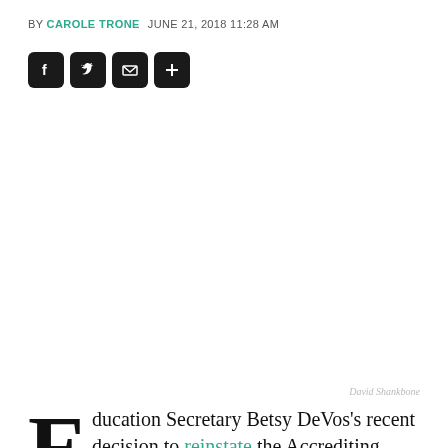BY CAROLE TRONE  JUNE 21, 2018 11:28 AM
[Figure (other): Social sharing icons: Facebook, Twitter, Email, Plus buttons in dark rounded squares]
[Figure (other): Expand/fullscreen button icon in dark square, top right]
[Figure (photo): Large photo placeholder (white space) with photo credit 'David Shankbone' at bottom right]
David Shankbone
Education Secretary Betsy DeVos's recent decision to reinstate the Accrediting Council for Independent Colleges and